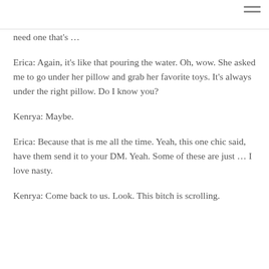[Figure (other): Hamburger menu icon (three horizontal lines) in top-right corner]
need one that's …
Erica: Again, it's like that pouring the water. Oh, wow. She asked me to go under her pillow and grab her favorite toys. It's always under the right pillow. Do I know you?
Kenrya: Maybe.
Erica: Because that is me all the time. Yeah, this one chic said, have them send it to your DM. Yeah. Some of these are just … I love nasty.
Kenrya: Come back to us. Look. This bitch is scrolling.